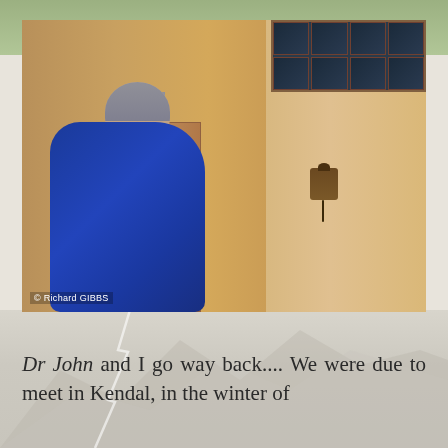[Figure (photo): A woman in a blue fleece jacket stands in profile view outside an adobe/mud-brick building. She has grey hair pulled back in a ponytail and her hand is raised near her face. Behind her is a wooden door with decorative dot patterns. On the right wall hangs an old-style telephone. A multi-paned window is visible in the upper right corner. Photo credit: © Richard GIBBS.]
Dr John and I go way back.... We were due to meet in Kendal, in the winter of